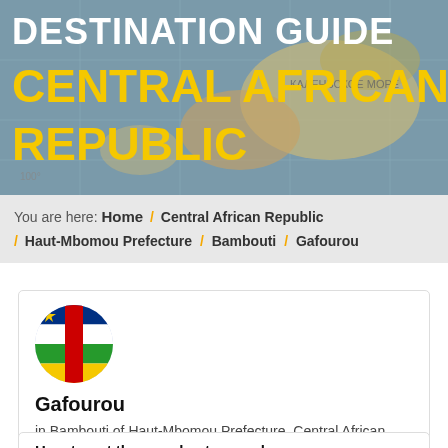[Figure (illustration): Map background with 'DESTINATION GUIDE' in white bold text and 'CENTRAL AFRICAN REPUBLIC' in large yellow bold text overlaid on top of a world map image]
You are here:  Home / Central African Republic / Haut-Mbomou Prefecture / Bambouti / Gafourou
[Figure (illustration): Circular flag of Central African Republic: blue, white, green, yellow horizontal stripes with a vertical red stripe and yellow star]
Gafourou
in Bambouti of Haut-Mbomou Prefecture, Central African Republic
How to get there and get around